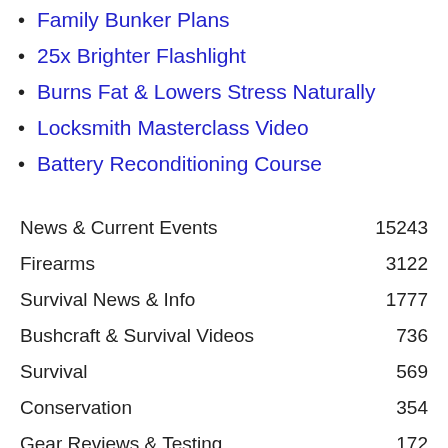Family Bunker Plans
25x Brighter Flashlight
Burns Fat & Lowers Stress Naturally
Locksmith Masterclass Video
Battery Reconditioning Course
| Category | Count |
| --- | --- |
| News & Current Events | 15243 |
| Firearms | 3122 |
| Survival News & Info | 1777 |
| Bushcraft & Survival Videos | 736 |
| Survival | 569 |
| Conservation | 354 |
| Gear Reviews & Testing | 172 |
| Medical | 135 |